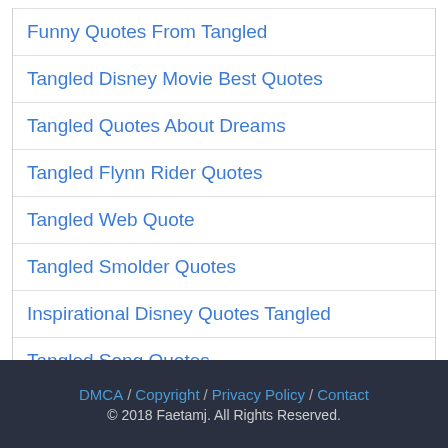Funny Quotes From Tangled
Tangled Disney Movie Best Quotes
Tangled Quotes About Dreams
Tangled Flynn Rider Quotes
Tangled Web Quote
Tangled Smolder Quotes
Inspirational Disney Quotes Tangled
Tangled Song Quotes
Quotes From The Movie Tangled
DMCA / Copyright / Privacy Policy / Contact © 2018 Faetamj. All Rights Reserved.